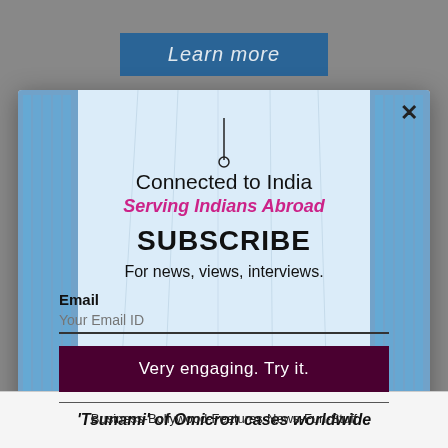[Figure (screenshot): Learn more button on grey background at top]
[Figure (screenshot): Modal popup with blue building background. Contains subscription form for 'Connected to India - Serving Indians Abroad' newsletter with email input and submit button.]
Connected to India
Serving Indians Abroad
SUBSCRIBE
For news, views, interviews.
Email
Your Email ID
Very engaging. Try it.
Business-Bollywood-Features-News-Fun-Stuff
'Tsunami' of Omicron cases worldwide